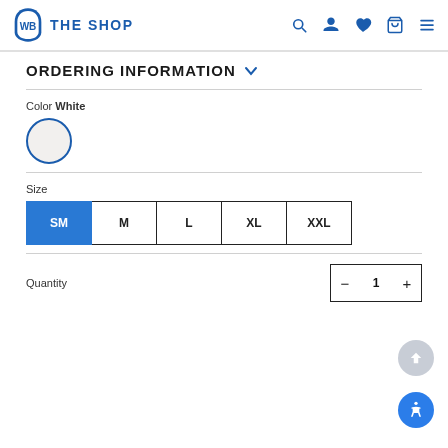WB The Shop
ORDERING INFORMATION
Color White
[Figure (illustration): White color swatch circle with blue border, selected]
Size
[Figure (illustration): Size selector buttons: SM (selected, blue), M, L, XL, XXL]
Quantity
[Figure (illustration): Quantity control with minus button, value 1, plus button]